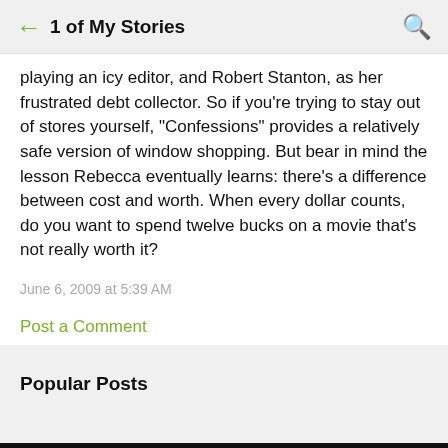1 of My Stories
playing an icy editor, and Robert Stanton, as her frustrated debt collector. So if you're trying to stay out of stores yourself, "Confessions" provides a relatively safe version of window shopping. But bear in mind the lesson Rebecca eventually learns: there's a difference between cost and worth. When every dollar counts, do you want to spend twelve bucks on a movie that's not really worth it?
June 6, 2009 at 5:39 AM
Post a Comment
Popular Posts